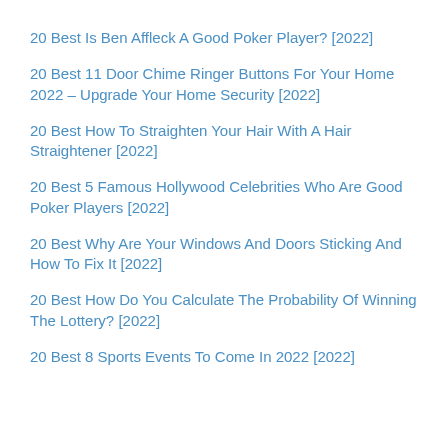20 Best Is Ben Affleck A Good Poker Player? [2022]
20 Best 11 Door Chime Ringer Buttons For Your Home 2022 – Upgrade Your Home Security [2022]
20 Best How To Straighten Your Hair With A Hair Straightener [2022]
20 Best 5 Famous Hollywood Celebrities Who Are Good Poker Players [2022]
20 Best Why Are Your Windows And Doors Sticking And How To Fix It [2022]
20 Best How Do You Calculate The Probability Of Winning The Lottery? [2022]
20 Best 8 Sports Events To Come In 2022 [2022]